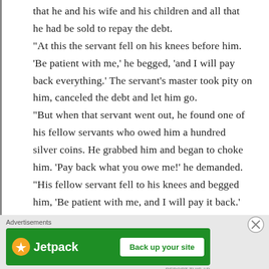that he and his wife and his children and all that he had be sold to repay the debt. “At this the servant fell on his knees before him. ‘Be patient with me,’ he begged, ‘and I will pay back everything.’ The servant’s master took pity on him, canceled the debt and let him go. “But when that servant went out, he found one of his fellow servants who owed him a hundred silver coins. He grabbed him and began to choke him. ‘Pay back what you owe me!’ he demanded. “His fellow servant fell to his knees and begged him, ‘Be patient with me, and I will pay it back.’
[Figure (infographic): Jetpack advertisement banner with green background, Jetpack logo with lightning bolt icon, and a 'Back up your site' button]